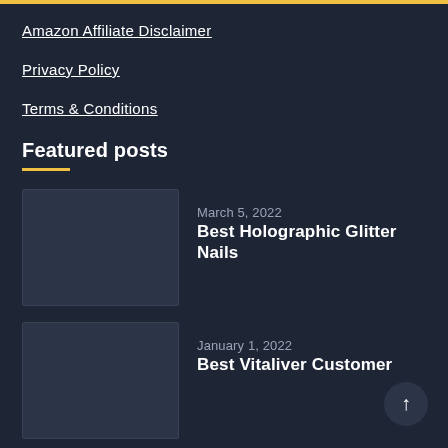Amazon Affiliate Disclaimer
Privacy Policy
Terms & Conditions
Featured posts
[Figure (other): Thumbnail image placeholder for Best Holographic Glitter Nails post]
March 5, 2022
Best Holographic Glitter Nails
[Figure (other): Thumbnail image placeholder for Best Vitaliver Customer post]
January 1, 2022
Best Vitaliver Customer